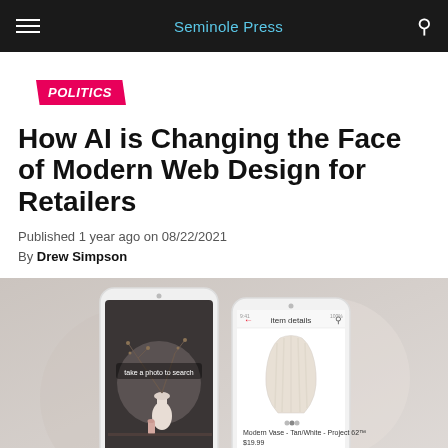Seminole Press
POLITICS
How AI is Changing the Face of Modern Web Design for Retailers
Published 1 year ago on 08/22/2021
By Drew Simpson
[Figure (photo): Two smartphones side by side: left phone shows a camera app scanning a vase with branches, right phone shows a retail product page for 'Modern Vase - Tan/White - Project 62' priced at $19.99 with an 'add to registry' button]